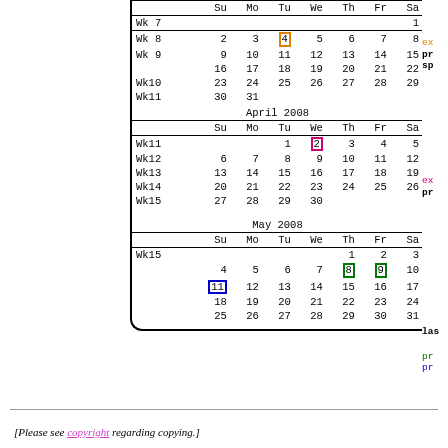[Figure (other): Calendar pages showing March, April, and May 2008 with week numbers and highlighted dates. March: week 8 date 4 highlighted in orange box. April: week 11 date 2 highlighted in pink/magenta box. May: week 15 dates 8 and 9 highlighted in green box, date 11 highlighted in blue box.]
[Please see copyright regarding copying.]